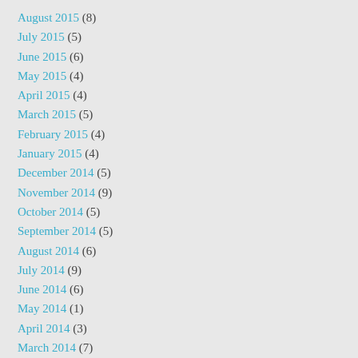August 2015 (8)
July 2015 (5)
June 2015 (6)
May 2015 (4)
April 2015 (4)
March 2015 (5)
February 2015 (4)
January 2015 (4)
December 2014 (5)
November 2014 (9)
October 2014 (5)
September 2014 (5)
August 2014 (6)
July 2014 (9)
June 2014 (6)
May 2014 (1)
April 2014 (3)
March 2014 (7)